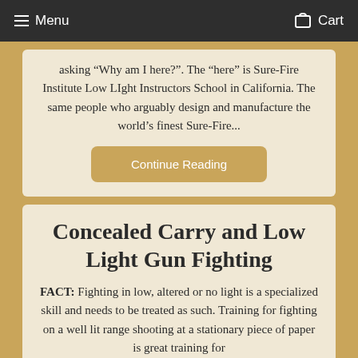Menu  Cart
asking “Why am I here?”. The “here” is Sure-Fire Institute Low LIght Instructors School in California. The same people who arguably design and manufacture the world’s finest Sure-Fire...
Continue Reading
Concealed Carry and Low Light Gun Fighting
FACT: Fighting in low, altered or no light is a specialized skill and needs to be treated as such. Training for fighting on a well lit range shooting at a stationary piece of paper is great training for...